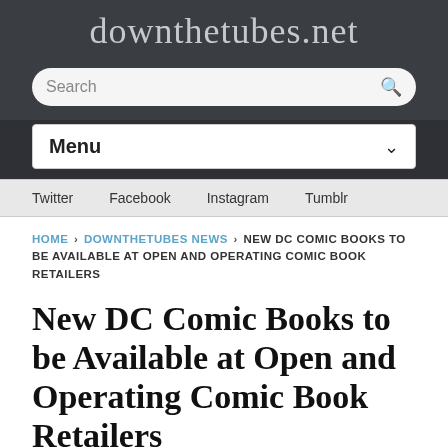downthetubes.net
Search
Menu
Twitter   Facebook   Instagram   Tumblr
HOME › DOWNTHETUBES NEWS › NEW DC COMIC BOOKS TO BE AVAILABLE AT OPEN AND OPERATING COMIC BOOK RETAILERS
New DC Comic Books to be Available at Open and Operating Comic Book Retailers